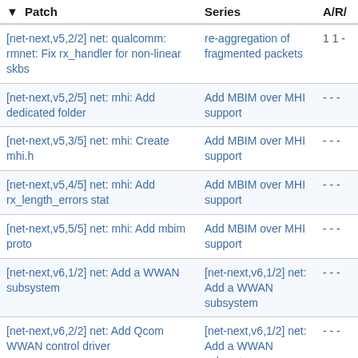| Patch | Series | A/R/ |
| --- | --- | --- |
| [net-next,v5,2/2] net: qualcomm: rmnet: Fix rx_handler for non-linear skbs | re-aggregation of fragmented packets | 1 1 - |
| [net-next,v5,2/5] net: mhi: Add dedicated folder | Add MBIM over MHI support | - - - |
| [net-next,v5,3/5] net: mhi: Create mhi.h | Add MBIM over MHI support | - - - |
| [net-next,v5,4/5] net: mhi: Add rx_length_errors stat | Add MBIM over MHI support | - - - |
| [net-next,v5,5/5] net: mhi: Add mbim proto | Add MBIM over MHI support | - - - |
| [net-next,v6,1/2] net: Add a WWAN subsystem | [net-next,v6,1/2] net: Add a WWAN subsystem | - - - |
| [net-next,v6,2/2] net: Add Qcom WWAN control driver | [net-next,v6,1/2] net: Add a WWAN subsystem | - - - |
| [net-next,v7,1/2] net: Add a WWAN subsystem | [net-next,v7,1/2] net: Add a WWAN subsystem | - - - |